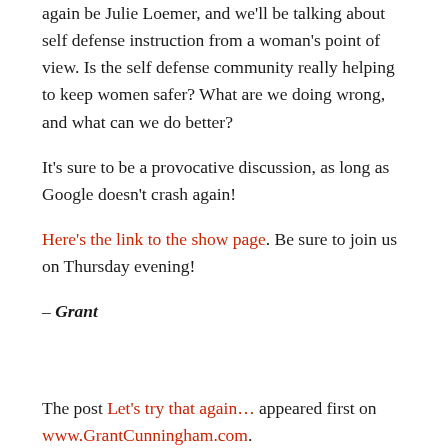again be Julie Loemer, and we'll be talking about self defense instruction from a woman's point of view. Is the self defense community really helping to keep women safer? What are we doing wrong, and what can we do better?
It's sure to be a provocative discussion, as long as Google doesn't crash again!
Here's the link to the show page. Be sure to join us on Thursday evening!
– Grant
The post Let's try that again… appeared first on www.GrantCunningham.com.
This content originally appeared at text and was written by admin This content is